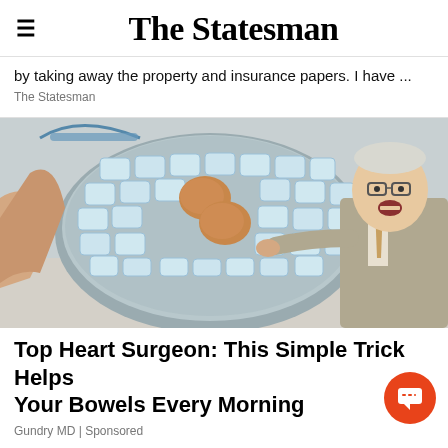The Statesman
by taking away the property and insurance papers. I have ...
The Statesman
[Figure (photo): An elderly man in a suit pointing at a bowl filled with ice cubes and two brown eggs, held by a person's hand. The scene is on a kitchen counter.]
Top Heart Surgeon: This Simple Trick Helps Your Bowels Every Morning
Gundry MD | Sponsored